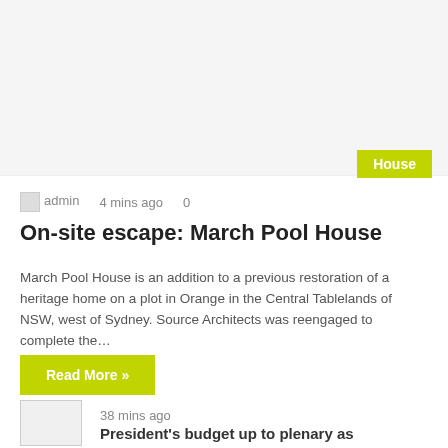[Figure (photo): Large image area at top of page (image not loaded)]
House
admin   4 mins ago   0
On-site escape: March Pool House
March Pool House is an addition to a previous restoration of a heritage home on a plot in Orange in the Central Tablelands of NSW, west of Sydney. Source Architects was reengaged to complete the…
Read More »
[Figure (photo): Small thumbnail image (not loaded)]
38 mins ago
President's budget up to plenary as